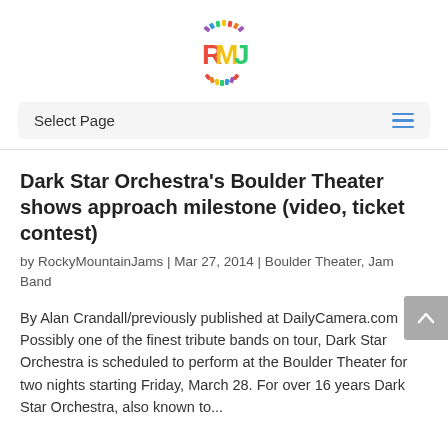[Figure (logo): RMJ logo with colorful letters R, M, J arranged in a circle with a smiley face arc of small colorful rectangles]
Select Page
Dark Star Orchestra's Boulder Theater shows approach milestone (video, ticket contest)
by RockyMountainJams | Mar 27, 2014 | Boulder Theater, Jam Band
By Alan Crandall/previously published at DailyCamera.com Possibly one of the finest tribute bands on tour, Dark Star Orchestra is scheduled to perform at the Boulder Theater for two nights starting Friday, March 28. For over 16 years Dark Star Orchestra, also known to...